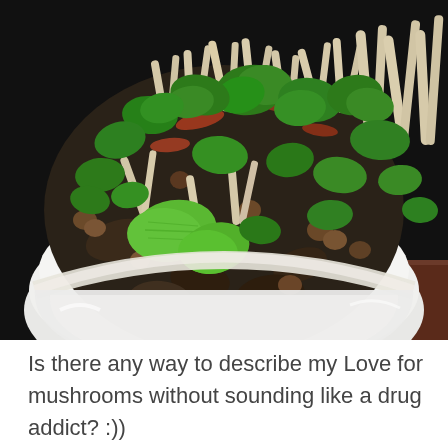[Figure (photo): Close-up photo of a white oval bowl filled with a mushroom salad containing various types of mushrooms (shimeji, shiitake, and others), fresh herbs including cilantro and mint leaves, with a reddish spice or sauce coating. The bowl sits on a dark surface with what appears to be colorful printed material in the bottom right corner.]
Is there any way to describe my Love for mushrooms without sounding like a drug addict? :))